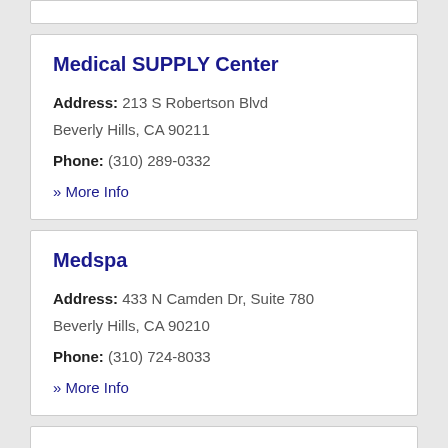Medical SUPPLY Center
Address: 213 S Robertson Blvd Beverly Hills, CA 90211
Phone: (310) 289-0332
» More Info
Medspa
Address: 433 N Camden Dr, Suite 780 Beverly Hills, CA 90210
Phone: (310) 724-8033
» More Info